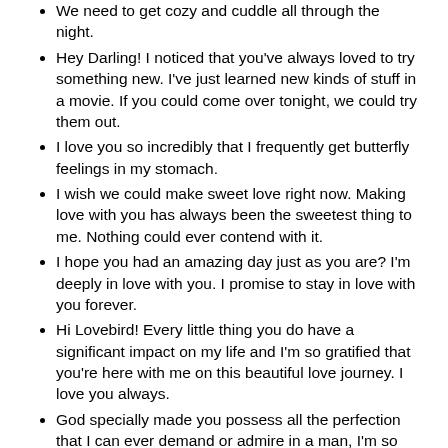We need to get cozy and cuddle all through the night.
Hey Darling! I noticed that you've always loved to try something new. I've just learned new kinds of stuff in a movie. If you could come over tonight, we could try them out.
I love you so incredibly that I frequently get butterfly feelings in my stomach.
I wish we could make sweet love right now. Making love with you has always been the sweetest thing to me. Nothing could ever contend with it.
I hope you had an amazing day just as you are? I'm deeply in love with you. I promise to stay in love with you forever.
Hi Lovebird! Every little thing you do have a significant impact on my life and I'm so gratified that you're here with me on this beautiful love journey. I love you always.
God specially made you possess all the perfection that I can ever demand or admire in a man, I'm so lucky to be your woman.